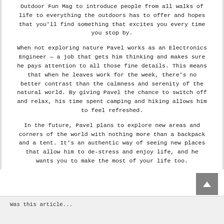Outdoor Fun Mag to introduce people from all walks of life to everything the outdoors has to offer and hopes that you'll find something that excites you every time you stop by.
When not exploring nature Pavel works as an Electronics Engineer — a job that gets him thinking and makes sure he pays attention to all those fine details. This means that when he leaves work for the week, there's no better contrast than the calmness and serenity of the natural world. By giving Pavel the chance to switch off and relax, his time spent camping and hiking allows him to feel refreshed.
In the future, Pavel plans to explore new areas and corners of the world with nothing more than a backpack and a tent. It's an authentic way of seeing new places that allow him to de-stress and enjoy life, and he wants you to make the most of your life too.